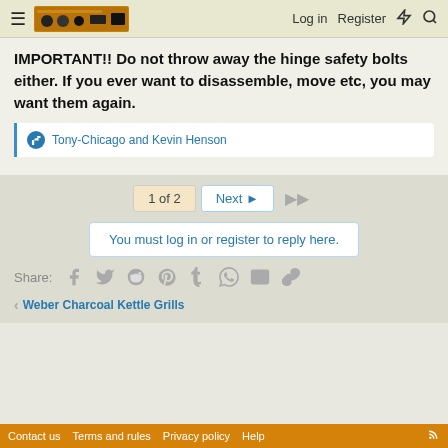≡ [logo] Log in Register ⚡ 🔍
IMPORTANT!! Do not throw away the hinge safety bolts either. If you ever want to disassemble, move etc, you may want them again.
Tony-Chicago and Kevin Henson
1 of 2  Next ▶  ▶▶
You must log in or register to reply here.
Share:
Weber Charcoal Kettle Grills
Contact us  Terms and rules  Privacy policy  Help  RSS